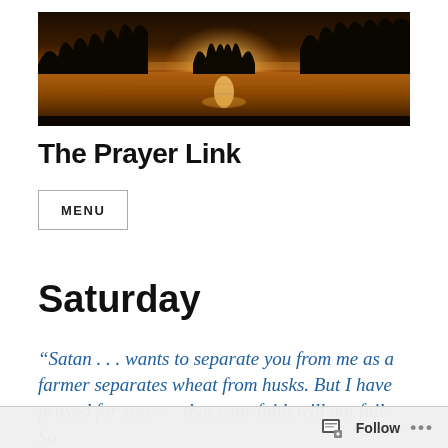[Figure (photo): A scenic landscape photo showing a lake or river at sunset/sunrise with golden light reflecting on the water and silhouetted trees in the background.]
The Prayer Link
MENU
Saturday
“Satan . . . wants to separate you from me as a farmer separates wheat from husks. But I have prayed for you . . . that your faith will not fail. So
Follow